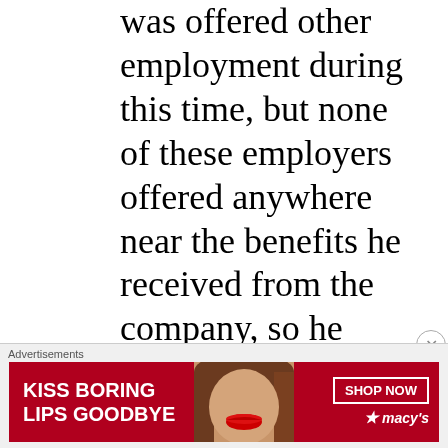was offered other employment during this time, but none of these employers offered anywhere near the benefits he received from the company, so he stayed while other co-workers, equally miserable under the awful manager, headed for other employment. The manager was eventually demoted, and Brett was subsequently
[Figure (infographic): Advertisement banner for Macy's lipstick product reading 'KISS BORING LIPS GOODBYE' with a woman's face showing red lips, and a 'SHOP NOW' button with Macys star logo]